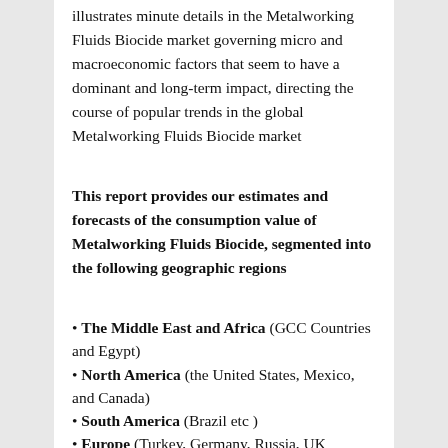illustrates minute details in the Metalworking Fluids Biocide market governing micro and macroeconomic factors that seem to have a dominant and long-term impact, directing the course of popular trends in the global Metalworking Fluids Biocide market
This report provides our estimates and forecasts of the consumption value of Metalworking Fluids Biocide, segmented into the following geographic regions
The Middle East and Africa (GCC Countries and Egypt)
North America (the United States, Mexico, and Canada)
South America (Brazil etc )
Europe (Turkey, Germany, Russia, UK ...